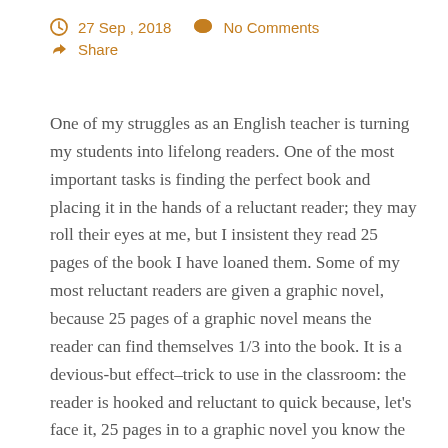27 Sep , 2018   No Comments   Share
One of my struggles as an English teacher is turning my students into lifelong readers. One of the most important tasks is finding the perfect book and placing it in the hands of a reluctant reader; they may roll their eyes at me, but I insistent they read 25 pages of the book I have loaned them. Some of my most reluctant readers are given a graphic novel, because 25 pages of a graphic novel means the reader can find themselves 1/3 into the book. It is a devious-but effect–trick to use in the classroom: the reader is hooked and reluctant to quick because, let's face it, 25 pages in to a graphic novel you know the character, the setting and the plot! Penguin